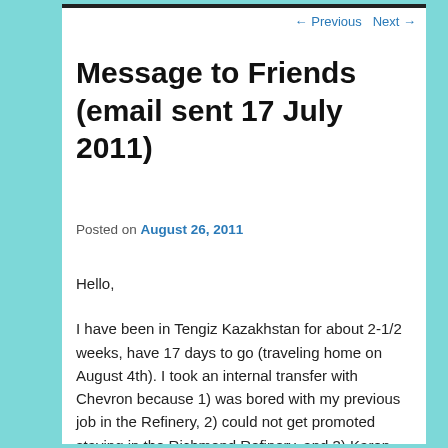← Previous   Next →
Message to Friends (email sent 17 July 2011)
Posted on August 26, 2011
Hello,
I have been in Tengiz Kazakhstan for about 2-1/2 weeks, have 17 days to go (traveling home on August 4th). I took an internal transfer with Chevron because 1) was bored with my previous job in the Refinery, 2) could not get promoted staying in the Richmond Refinery, and 3) Karen and I decided that since I work ~ 60 hours week I might as well work a few more hours, and then get a break from work. This position is what is called a 28 / 28 rotation